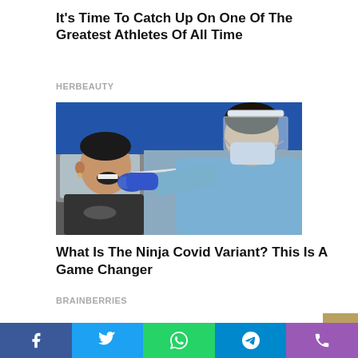It's Time To Catch Up On One Of The Greatest Athletes Of All Time
HERBEAUTY
[Figure (photo): A healthcare worker in blue PPE gown, face shield, and mask administering a COVID-19 nasal swab test to a person sitting in a car with open window.]
What Is The Ninja Covid Variant? This Is A Game Changer
BRAINBERRIES